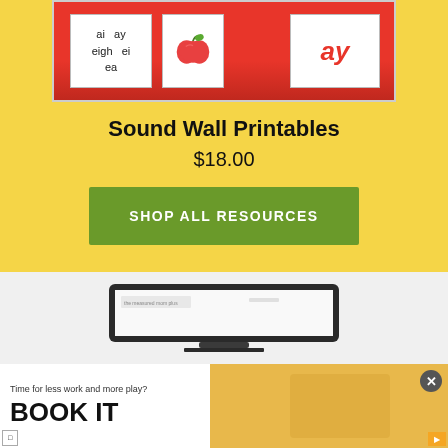[Figure (illustration): Product preview image showing sound wall printable cards with phonics spellings (ai, ay, eigh, ei, ea) and an apple image on a red sunburst background]
Sound Wall Printables
$18.00
SHOP ALL RESOURCES
[Figure (screenshot): Laptop/tablet frame showing The Measured Mom Plus website screenshot]
[Figure (advertisement): Ad banner: 'Time for less work and more play? BOOK IT' with close button]